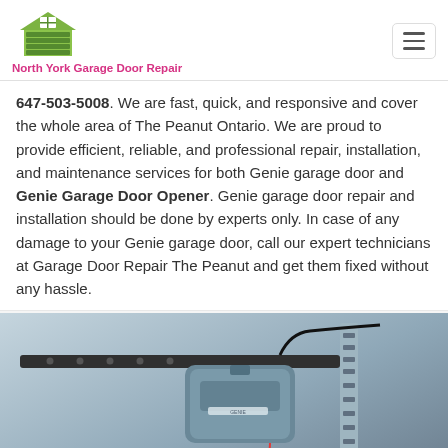North York Garage Door Repair
647-503-5008. We are fast, quick, and responsive and cover the whole area of The Peanut Ontario. We are proud to provide efficient, reliable, and professional repair, installation, and maintenance services for both Genie garage door and Genie Garage Door Opener. Genie garage door repair and installation should be done by experts only. In case of any damage to your Genie garage door, call our expert technicians at Garage Door Repair The Peanut and get them fixed without any hassle.
[Figure (photo): Photo of a Genie garage door opener unit mounted on ceiling rails with mounting bracket visible. A green phone call button icon overlays the bottom left. Text overlay reads 'Genie Garage Door / The Peanut - Ontario'. A reCAPTCHA badge appears in the bottom right corner with 'Privacy - Terms' text.]